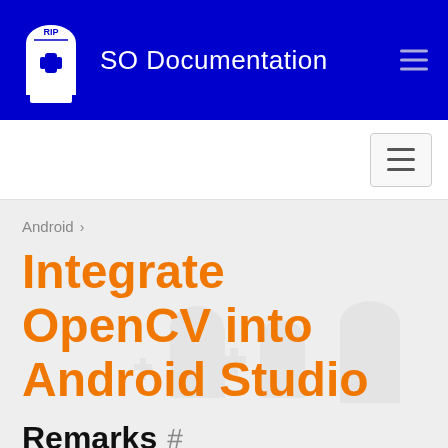SO Documentation
Android
Integrate OpenCV into Android Studio
Remarks #